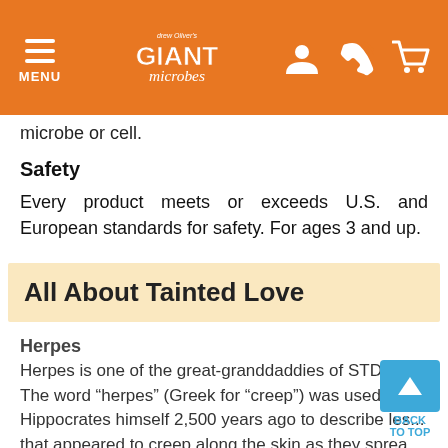Drew Oliver's Giant Microbes - MENU
microbe or cell.
Safety
Every product meets or exceeds U.S. and European standards for safety. For ages 3 and up.
All About Tainted Love
Herpes
Herpes is one of the great-granddaddies of STDs. The word “herpes” (Greek for “creep”) was used by Hippocrates himself 2,500 years ago to describe les... that appeared to creep along the skin as they sprea...
Outbreaks occur in only about one third of cases, depending on the strength of the immune system and the